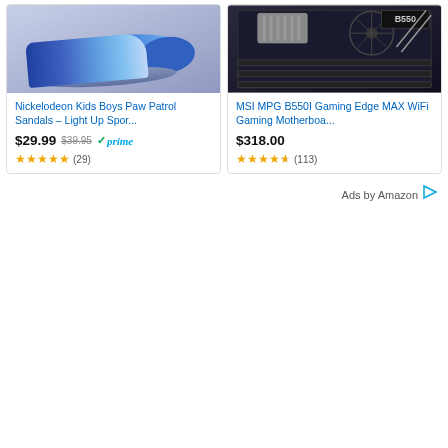[Figure (photo): Nickelodeon Paw Patrol kids blue sport sandal/shoe with colorful stripes]
Nickelodeon Kids Boys Paw Patrol Sandals – Light Up Spor...
$29.99  $39.95  prime  4.5 stars (29)
[Figure (photo): MSI MPG B550I gaming motherboard with dark PCB and silver heatsinks]
MSI MPG B550I Gaming Edge MAX WiFi Gaming Motherboa...
$318.00  4.5 stars (113)
Ads by Amazon